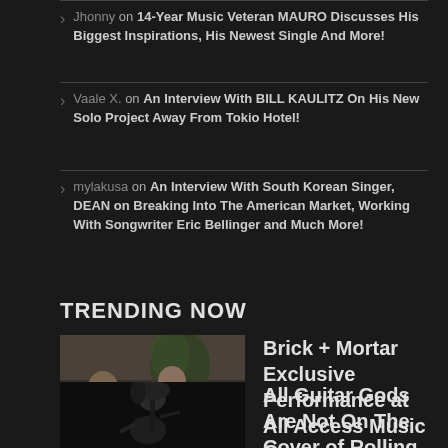Jhonny on 14-Year Music Veteran MAURO Discusses His Biggest Inspirations, His Newest Single And More!
Vaale X. on An Interview With BILL KAULITZ On His New Solo Project Away From Tokio Hotel!
mylakusa on An Interview With South Korean Singer, DEAN on Breaking Into The American Market, Working With Songwriter Eric Bellinger and Much More!
TRENDING NOW
[Figure (photo): Two musicians in a room, one playing drums]
Brick + Mortar Exclusive Performance at All Access Music Group
1 Comment
[Figure (photo): Black and white photo of a guitar player]
All Guitar Gods Are Not On The Cover of Rolling Stone-An Interview with Eric McFadden